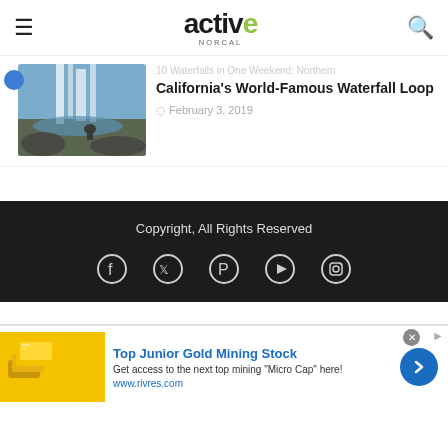active NORCAL
[Figure (photo): Thumbnail image of a waterfall in Northern California with a person sitting on rocks]
California's World-Famous Waterfall Loop
February 3, 2019
Copyright, All Rights Reserved
[Figure (infographic): Social media icons: Facebook, Twitter, Pinterest, YouTube, Instagram]
[Figure (photo): Advertisement: Top Junior Gold Mining Stock - Get access to the next top mining Micro Cap here! www.rivres.com]